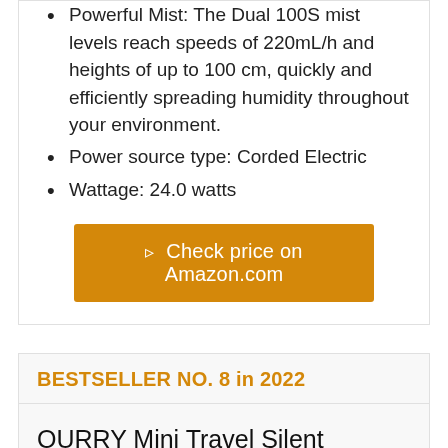Powerful Mist: The Dual 100S mist levels reach speeds of 220mL/h and heights of up to 100 cm, quickly and efficiently spreading humidity throughout your environment.
Power source type: Corded Electric
Wattage: 24.0 watts
🔗 Check price on Amazon.com
BESTSELLER NO. 8 in 2022
OURRY Mini Travel Silent Humidifier, Battery Operated Desk Humidifier, Personal USB